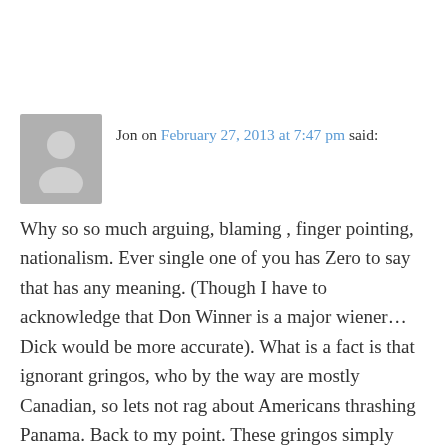Jon on February 27, 2013 at 7:47 pm said:
Why so so much arguing, blaming , finger pointing, nationalism. Ever single one of you has Zero to say that has any meaning. (Though I have to acknowledge that Don Winner is a major wiener…Dick would be more accurate). What is a fact is that ignorant gringos, who by the way are mostly Canadian, so lets not rag about Americans thrashing Panama. Back to my point. These gringos simply need to wake up and realize that it is as simple as following protocol.,.just like all citizens already do. Protect yourself. Bars on windows, big black dogs, don't leave your door open when napping. whach what is going on when you drive up to your home, fences with barbed wire, if you are loaded (rich), hire a guard if you are gonna drive a $80k car. All intelligent Panamenos that has money, also have a guard at home. The